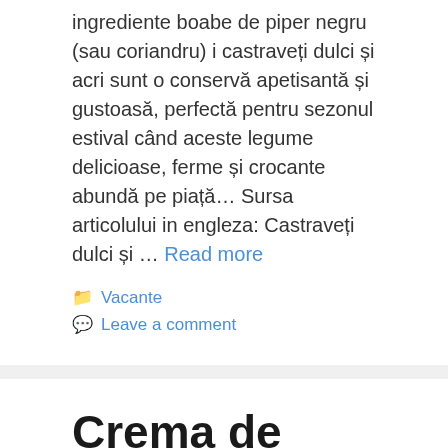ingrediente boabe de piper negru (sau coriandru) i castraveți dulci și acri sunt o conservă apetisantă și gustoasă, perfectă pentru sezonul estival când aceste legume delicioase, ferme și crocante abundă pe piață… Sursa articolului in engleza: Castraveți dulci și … Read more
Vacante
Leave a comment
Crema de parmezan: rețeta unui sos gustos și versatil Talo